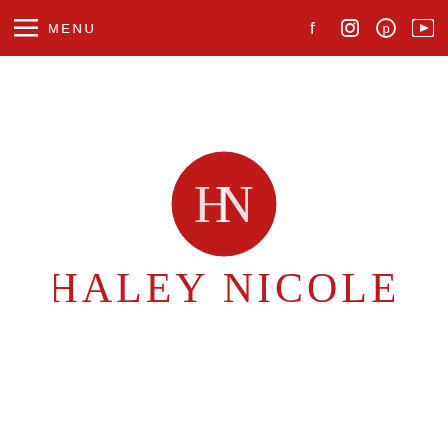MENU
[Figure (logo): Haley Nicole brand logo: red circle with HN monogram above large serif text reading HALEY NICOLE in red]